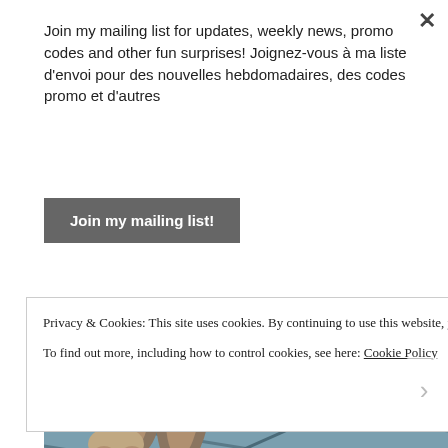Join my mailing list for updates, weekly news, promo codes and other fun surprises! Joignez-vous à ma liste d'envoi pour des nouvelles hebdomadaires, des codes promo et d'autres
Join my mailing list!
[Figure (photo): Cat paws and legs visible on blue painted wooden deck boards]
Privacy & Cookies: This site uses cookies. By continuing to use this website, you agree to their use.
To find out more, including how to control cookies, see here: Cookie Policy
Close and accept